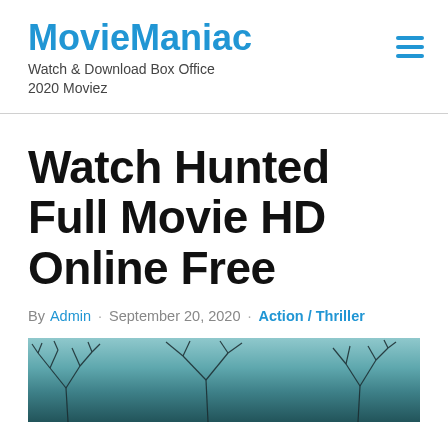MovieManiac — Watch & Download Box Office 2020 Moviez
Watch Hunted Full Movie HD Online Free
By Admin · September 20, 2020 · Action / Thriller
[Figure (photo): Movie banner image showing dark bare tree branches against a teal/blue sky background]